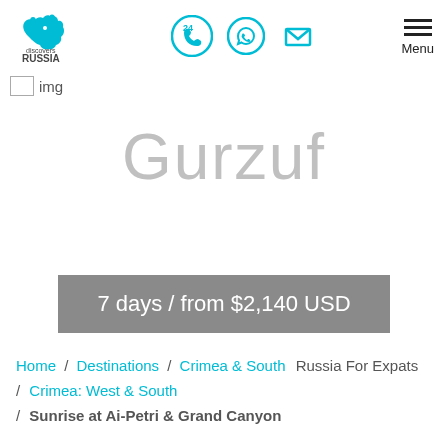Discover Russia — navigation header with logo, phone/whatsapp/email icons, and menu
[Figure (logo): Discover Russia logo: teal bear silhouette with 'discovers RUSSIA' text]
img
Gurzuf
7 days / from $2,140 USD
Home / Destinations / Crimea & South / Russia For Expats / Crimea: West & South / Sunrise at Ai-Petri & Grand Canyon